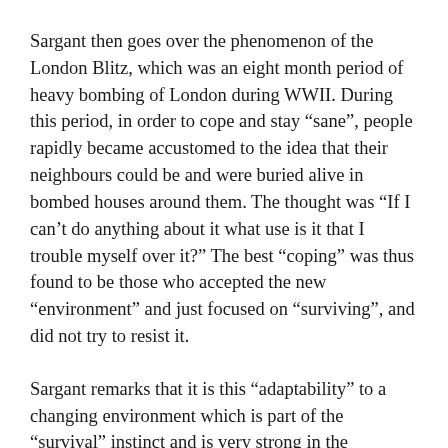Sargant then goes over the phenomenon of the London Blitz, which was an eight month period of heavy bombing of London during WWII. During this period, in order to cope and stay “sane”, people rapidly became accustomed to the idea that their neighbours could be and were buried alive in bombed houses around them. The thought was “If I can’t do anything about it what use is it that I trouble myself over it?” The best “coping” was thus found to be those who accepted the new “environment” and just focused on “surviving”, and did not try to resist it.
Sargant remarks that it is this “adaptability” to a changing environment which is part of the “survival” instinct and is very strong in the “healthy” and “normal” individual who can learn to cope and thus